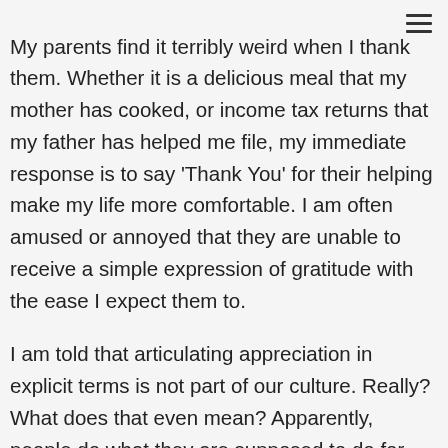My parents find it terribly weird when I thank them. Whether it is a delicious meal that my mother has cooked, or income tax returns that my father has helped me file, my immediate response is to say ‘Thank You’ for their helping make my life more comfortable. I am often amused or annoyed that they are unable to receive a simple expression of gratitude with the ease I expect them to.

I am told that articulating appreciation in explicit terms is not part of our culture. Really? What does that even mean? Apparently, people do what they are supposed to do for each other, and there is no need to make a big deal. My parents’ explanation for this belief is that the